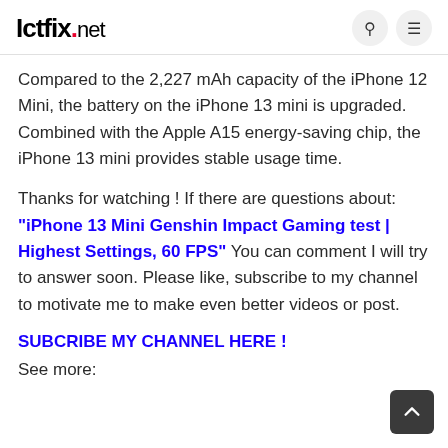Ictfix.net
Compared to the 2,227 mAh capacity of the iPhone 12 Mini, the battery on the iPhone 13 mini is upgraded. Combined with the Apple A15 energy-saving chip, the iPhone 13 mini provides stable usage time.
Thanks for watching ! If there are questions about: "iPhone 13 Mini Genshin Impact Gaming test | Highest Settings, 60 FPS" You can comment I will try to answer soon. Please like, subscribe to my channel to motivate me to make even better videos or post.
SUBCRIBE MY CHANNEL HERE !
See more: